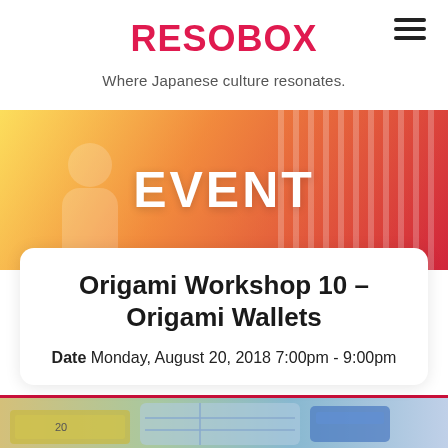RESOBOX
Where Japanese culture resonates.
[Figure (photo): Banner with gradient background (yellow to red) with a blurred figure in the background and large white bold text 'EVENT']
Origami Workshop 10 – Origami Wallets
Date Monday, August 20, 2018 7:00pm - 9:00pm
[Figure (photo): Partial image at the bottom showing origami wallets made from maps and currency bills]